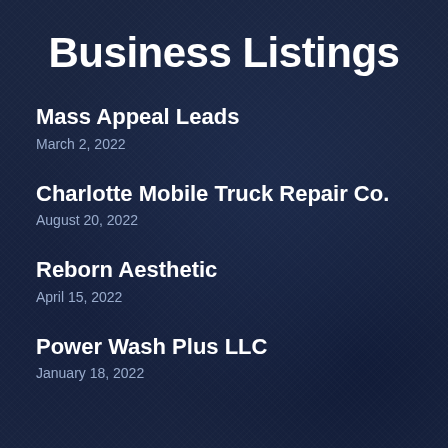Business Listings
Mass Appeal Leads
March 2, 2022
Charlotte Mobile Truck Repair Co.
August 20, 2022
Reborn Aesthetic
April 15, 2022
Power Wash Plus LLC
January 18, 2022